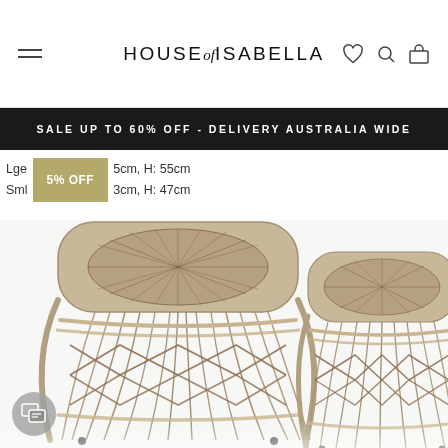HOUSE of ISABELLA — navigation header with hamburger menu and icons
SALE UP TO 60% OFF - DELIVERY AUSTRALIA WIDE
Lge  5% OFF  5cm, H: 55cm
Sml         3cm, H: 47cm
[Figure (photo): Two woven rattan/rope stools of different sizes photographed from above-front angle on white background. The larger stool is on the left, smaller on the right. Both have intricate woven tops and geometric lattice sides.]